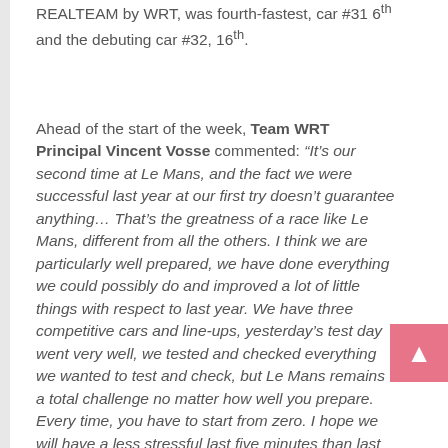REALTEAM by WRT, was fourth-fastest, car #31 6th and the debuting car #32, 16th.
Ahead of the start of the week, Team WRT Principal Vincent Vosse commented: “It’s our second time at Le Mans, and the fact we were successful last year at our first try doesn’t guarantee anything… That’s the greatness of a race like Le Mans, different from all the others. I think we are particularly well prepared, we have done everything we could possibly do and improved a lot of little things with respect to last year. We have three competitive cars and line-ups, yesterday’s test day went very well, we tested and checked everything we wanted to test and check, but Le Mans remains a total challenge no matter how well you prepare. Every time, you have to start from zero. I hope we will have a less stressful last five minutes than last year, but equal success and the three cars under the